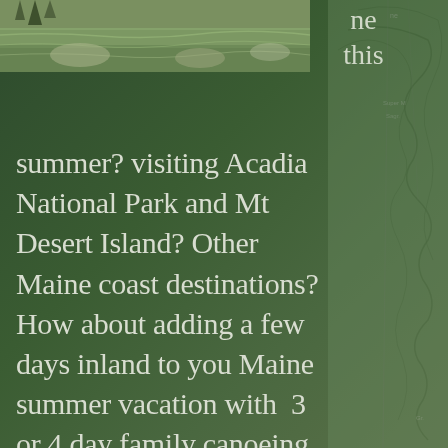[Figure (photo): A photo strip at the top showing water/nature scene, with a map visible on the right side of the page]
ne this summer? visiting Acadia National Park and Mt Desert Island? Other Maine coast destinations? How about adding a few days inland to you Maine summer vacation with  3 or 4 day family canoeing adventure? You kids will love you for it! Let a Maine guide help you discover Maine's interior when taking part in an Allagash Canoeing Adventure or St. Croix River Canoe Trip. The Allagash is best for spotting moose and it's almost a sure